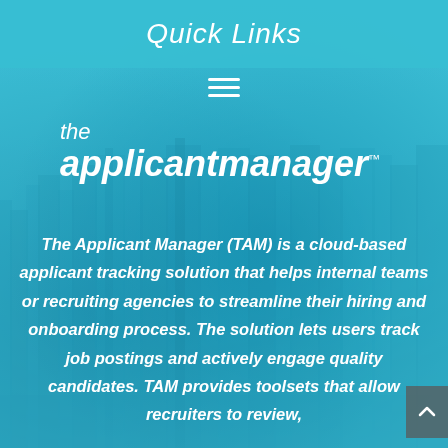Quick Links
[Figure (screenshot): Hamburger menu icon (three horizontal lines) on teal background]
[Figure (logo): The Applicant Manager logo with TM mark on teal city skyline background]
The Applicant Manager (TAM) is a cloud-based applicant tracking solution that helps internal teams or recruiting agencies to streamline their hiring and onboarding process. The solution lets users track job postings and actively engage quality candidates. TAM provides toolsets that allow recruiters to review,